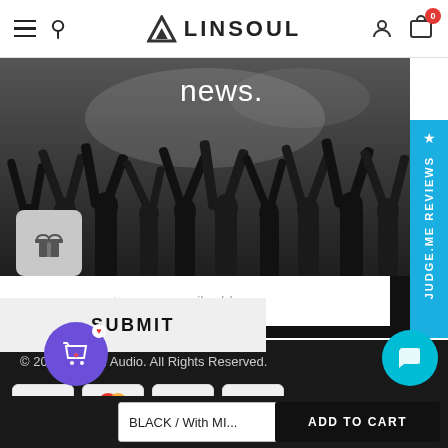LINSOUL — navigation header with hamburger menu, search, logo, user account, and cart (0 items)
[Figure (photo): Black and white crowd photo with arms raised at a concert, with 'news.' text overlay and email subscription form with gift icon and SUBMIT button]
news.
enter your email address
SUBMIT
[Figure (other): Blue vertical sidebar tab reading '★ JUDGE.ME REVIEWS']
© 2022 Linsoul Audio. All Rights Reserved.
[Figure (other): Payment method icons: VISA, Mastercard, American Express, PayPal]
BLACK / With MI... ∨
ADD TO CART